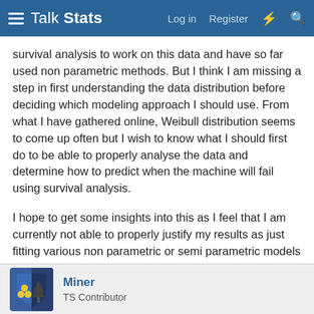Talk Stats — Log in   Register   ⚡   🔍
survival analysis to work on this data and have so far used non parametric methods. But I think I am missing a step in first understanding the data distribution before deciding which modeling approach I should use. From what I have gathered online, Weibull distribution seems to come up often but I wish to know what I should first do to be able to properly analyse the data and determine how to predict when the machine will fail using survival analysis.
I hope to get some insights into this as I feel that I am currently not able to properly justify my results as just fitting various non parametric or semi parametric models is not enough without making some valid assumptions and hypothesis testing.
Thank you.
Miner
TS Contributor